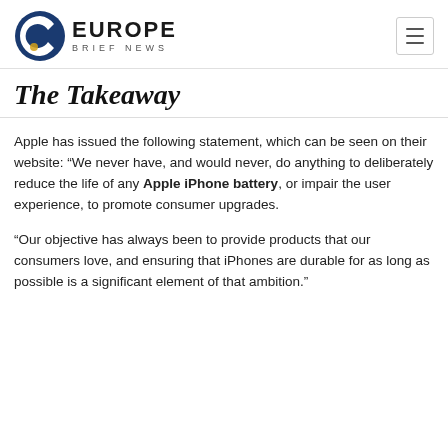Europe Brief News
The Takeaway
Apple has issued the following statement, which can be seen on their website: “We never have, and would never, do anything to deliberately reduce the life of any Apple iPhone battery, or impair the user experience, to promote consumer upgrades.
“Our objective has always been to provide products that our consumers love, and ensuring that iPhones are durable for as long as possible is a significant element of that ambition.”